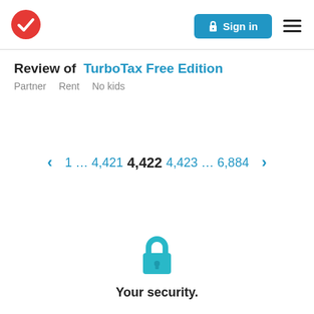[Figure (logo): Red circle with white checkmark — TurboTax-style logo]
[Figure (other): Blue 'Sign in' button with lock icon]
[Figure (other): Hamburger menu icon (three horizontal lines)]
Review of TurboTax Free Edition
Partner  Rent  No kids
1 … 4,421 4,422 4,423 … 6,884
[Figure (illustration): Teal/cyan padlock icon]
Your security.